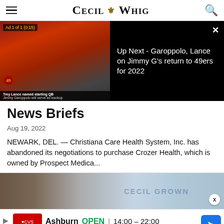Cecil Whig
[Figure (screenshot): Video player showing 49ers football footage with two players in red jerseys. Left panel shows the video with 'Ad 1 of 1 (0:15)' label and caption 'Trey Lance named starting QB / Jimmy Garoppolo will serve as backup'. Right panel (black background) shows 'Up Next - Garoppolo, Lance on Jimmy G's return to 49ers for 2022' with close button.]
News Briefs
Aug 19, 2022
NEWARK, DEL. — Christiana Care Health System, Inc. has abandoned its negotiations to purchase Crozer Health, which is owned by Prospect Medica...
[Figure (photo): Partial image showing a room with a person wearing glasses and a 'Cecil Grown' presentation screen/display in the background.]
Ashburn OPEN 14:00 – 22:00 43930 Farmwell Hunt Plaza, Ashburn